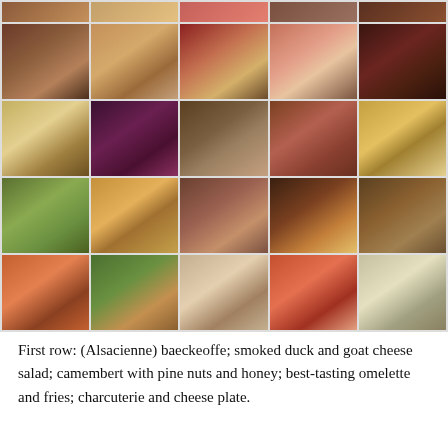[Figure (photo): A 5-column by 4-row grid of food photographs showing various French/European dishes including baeckeoffe, salads, omelettes, charcuterie, cheese plates, fries, meats, and market ingredients. A partial row of images appears at the very top.]
First row: (Alsacienne) baeckeoffe; smoked duck and goat cheese salad; camembert with pine nuts and honey; best-tasting omelette and fries; charcuterie and cheese plate.